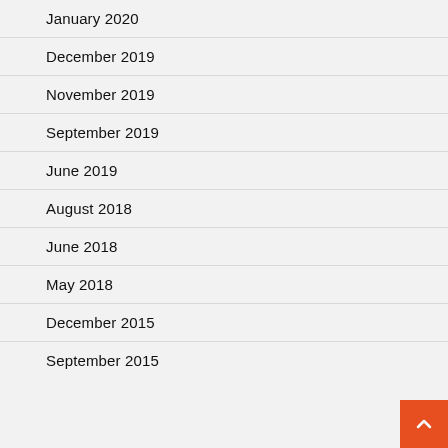January 2020
December 2019
November 2019
September 2019
June 2019
August 2018
June 2018
May 2018
December 2015
September 2015